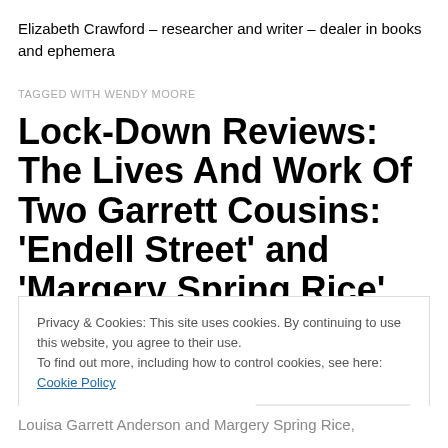Elizabeth Crawford – researcher and writer – dealer in books and ephemera
TAGGED WITH WENDY MOORE
Lock-Down Reviews: The Lives And Work Of Two Garrett Cousins: ‘Endell Street’ and ‘Margery Spring Rice’
Privacy & Cookies: This site uses cookies. By continuing to use this website, you agree to their use.
To find out more, including how to control cookies, see here: Cookie Policy
Close and accept
Louisa Garrett Anderson and Margery Spring Rice,